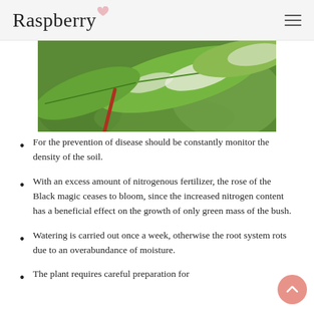Raspberry
[Figure (photo): Close-up photograph of green leaves with white powdery mildew coating on the leaf surfaces, against a blurred green background.]
For the prevention of disease should be constantly monitor the density of the soil.
With an excess amount of nitrogenous fertilizer, the rose of the Black magic ceases to bloom, since the increased nitrogen content has a beneficial effect on the growth of only green mass of the bush.
Watering is carried out once a week, otherwise the root system rots due to an overabundance of moisture.
The plant requires careful preparation for